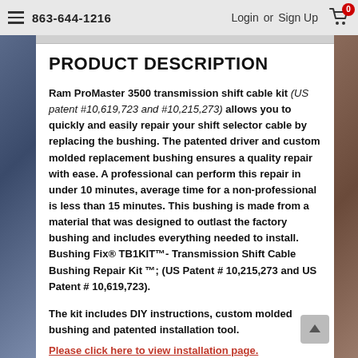863-644-1216  Login or Sign Up
PRODUCT DESCRIPTION
Ram ProMaster 3500 transmission shift cable kit (US patent #10,619,723 and #10,215,273) allows you to quickly and easily repair your shift selector cable by replacing the bushing. The patented driver and custom molded replacement bushing ensures a quality repair with ease. A professional can perform this repair in under 10 minutes, average time for a non-professional is less than 15 minutes. This bushing is made from a material that was designed to outlast the factory bushing and includes everything needed to install.  Bushing Fix® TB1KIT™- Transmission Shift Cable Bushing Repair Kit ™; (US Patent # 10,215,273 and US Patent # 10,619,723).
The kit includes DIY instructions, custom molded bushing and patented installation tool.
Please click here to view installation page.